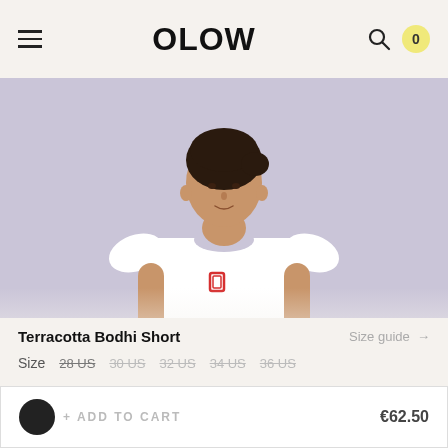OLOW
[Figure (photo): Woman wearing a white short-sleeve t-shirt with a small red logo on the chest, against a light purple/lavender background]
Terracotta Bodhi Short
Size guide →
Size  28 US  30 US  32 US  34 US  36 US
+ ADD TO CART  €62.50